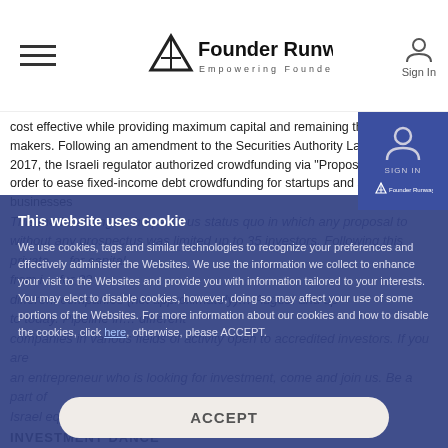Founder Runway — Empowering Founders
cost effective while providing maximum capital and remaining the ma… makers. Following an amendment to the Securities Authority Law, in b… 2017, the Israeli regulator authorized crowdfunding via "Proposal Coo… order to ease fixed-income debt crowdfunding for startups and small businesses.
This model changes the pervious status quo in which any proposal to without any prospectus was limited up to 35 investors. Following this private… for capital, from i… for 22 different companies (not approximately)… August and up to today. Pipeline in… different companies in various fields of activity open to accredited investors. If you are an entrepreneur who is looking for investment, come and join us. Be a part of Israel equity crowd funding revolution!
This website uses cookie
We use cookies, tags and similar technologies to recognize your preferences and effectively administer the Websites. We use the information we collect to enhance your visit to the Websites and provide you with information tailored to your interests. You may elect to disable cookies, however, doing so may affect your use of some portions of the Websites. For more information about our cookies and how to disable the cookies, click here, otherwise, please ACCEPT.
ACCEPT
INVESTMENT DANCE